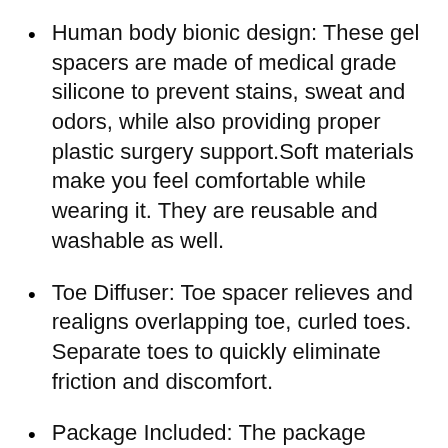Human body bionic design: These gel spacers are made of medical grade silicone to prevent stains, sweat and odors, while also providing proper plastic surgery support.Soft materials make you feel comfortable while wearing it. They are reusable and washable as well.
Toe Diffuser: Toe spacer relieves and realigns overlapping toe, curled toes. Separate toes to quickly eliminate friction and discomfort.
Package Included: The package comes with 12 pieces of toe separators. Zinyakon is especially concerned about the quality of the products and customer experience, so if you have